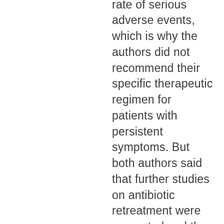plagued by a high rate of serious adverse events, which is why the authors did not recommend their specific therapeutic regimen for patients with persistent symptoms. But both authors said that further studies on antibiotic retreatment were warranted and they suggested that future research seek out regimens that were safer and less costly. Given the costs associated with conducting